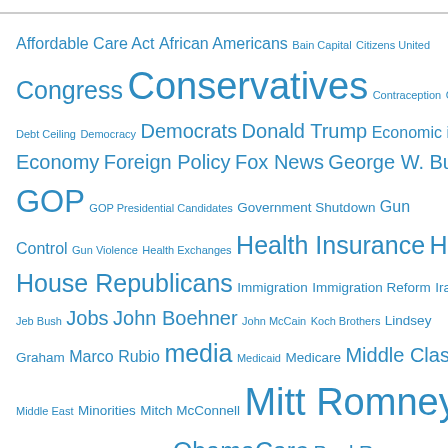[Figure (other): A tag cloud of political topics and figures rendered in various font sizes in blue. Terms include: Affordable Care Act, African Americans, Bain Capital, Citizens United, Congress, Conservatives, Contraception, Corporations, Debt Ceiling, Democracy, Democrats, Donald Trump, Economic inequality, Economy, Foreign Policy, Fox News, George W. Bush, GOP, GOP Presidential Candidates, Government Shutdown, Gun Control, Gun Violence, Health Exchanges, Health Insurance, Hillary Clinton, House Republicans, Immigration, Immigration Reform, Iraq War, ISIS, Jeb Bush, Jobs, John Boehner, John McCain, Koch Brothers, Lindsey Graham, Marco Rubio, media, Medicaid, Medicare, Middle Class, Middle East, Minorities, Mitch McConnell, Mitt Romney, National Security, Newt Gingrich, NRA, ObamaCare, Paul Ryan, Politics, Racism (partially visible)]